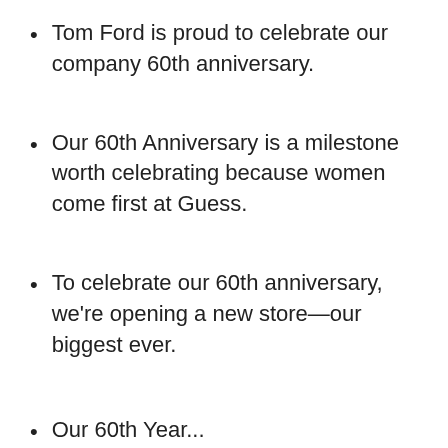Tom Ford is proud to celebrate our company 60th anniversary.
Our 60th Anniversary is a milestone worth celebrating because women come first at Guess.
To celebrate our 60th anniversary, we're opening a new store—our biggest ever.
Our 60th Year... [partial, cut off]